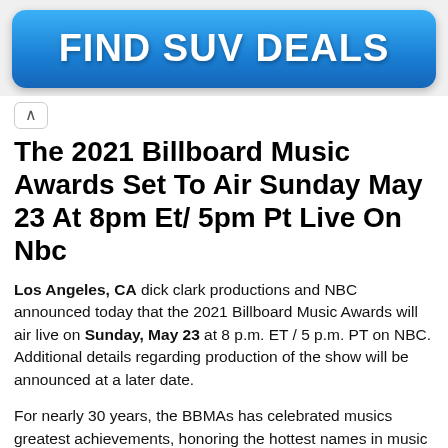[Figure (other): Blue gradient advertisement banner button with bold white text reading FIND SUV DEALS]
The 2021 Billboard Music Awards Set To Air Sunday May 23 At 8pm Et/ 5pm Pt Live On Nbc
Los Angeles, CA dick clark productions and NBC announced today that the 2021 Billboard Music Awards will air live on Sunday, May 23 at 8 p.m. ET / 5 p.m. PT on NBC. Additional details regarding production of the show will be announced at a later date.
For nearly 30 years, the BBMAs has celebrated musics greatest achievements, honoring the hottest names in music today. Unique among music awards shows, honorees are